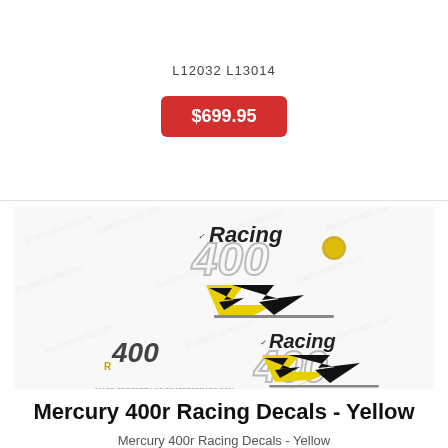L12032 L13014
$699.95
[Figure (photo): Mercury 400r Racing Decals in yellow and black colorway, showing two sets of decals including 'Racing 400' graphics with yellow lightning bolt design, watermarked product image.]
Mercury 400r Racing Decals - Yellow
Mercury 400r Racing Decals - Yellow